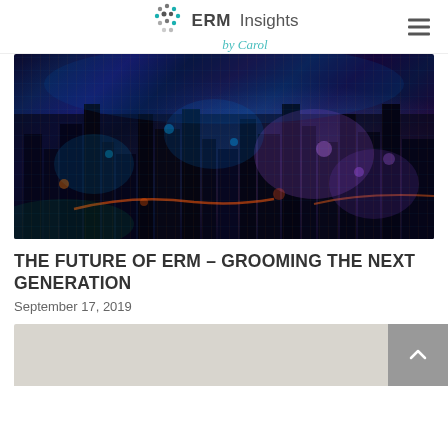ERM Insights by Carol
[Figure (photo): Aerial night cityscape with colorful bokeh lights — blues, purples, oranges — showing city streets and buildings from above]
THE FUTURE OF ERM – GROOMING THE NEXT GENERATION
September 17, 2019
[Figure (map): Partial map or image at the bottom of the page, light beige/gray tones, partially cut off]